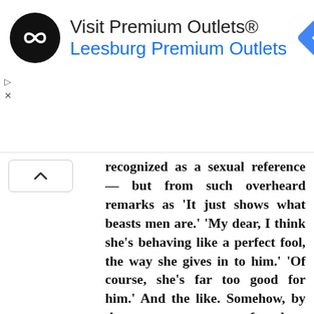[Figure (screenshot): Advertisement banner for Visit Premium Outlets® - Leesburg Premium Outlets, with a black circular logo with infinity-like symbol, blue navigation arrow diamond icon, and Google Maps-style ad controls]
recognized as a sexual reference — but from such overheard remarks as 'It just shows what beasts men are.' 'My dear, I think she's behaving like a perfect fool, the way she gives in to him.' 'Of course, she's far too good for him.' And the like. Somehow, by the mere tone of these conversations — the hatefulness — above all the physical unattractiveness — of men in women's eyes seemed to be established. It was not till he was about 30 that it struck him